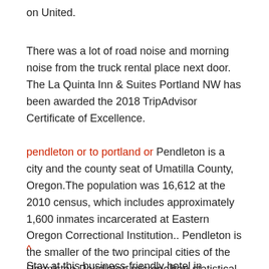on United.
There was a lot of road noise and morning noise from the truck rental place next door. The La Quinta Inn & Suites Portland NW has been awarded the 2018 TripAdvisor Certificate of Excellence.
pendleton or to portland or Pendleton is a city and the county seat of Umatilla County, Oregon.The population was 16,612 at the 2010 census, which includes approximately 1,600 inmates incarcerated at Eastern Oregon Correctional Institution.. Pendleton is the smaller of the two principal cities of the Hermiston-Pendleton micropolitan statistical area.best tattoo portland Tyler Adams · David Stein · Laura Jean Graham · Robert Alvarez · Jason Graham · Jessica Flecha · Mike Roberts · Katt Garrigan · Chris Valkov · Brian Visser.
^ Stay at this business-friendly hotel in Portland. Enjoy free